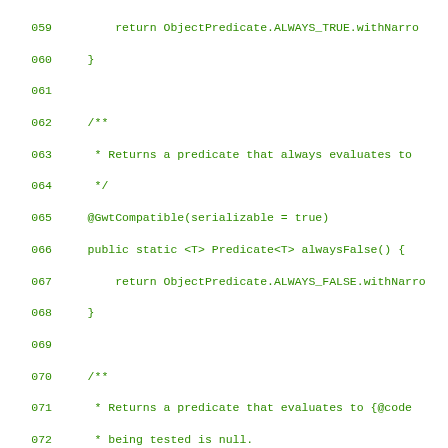[Figure (screenshot): Source code listing in green monospace font on white background, showing Java methods alwaysFalse(), isNull(), and notNull() with line numbers 059-088. Code includes Javadoc comments, @GwtCompatible annotations, and return statements using ObjectPredicate.]